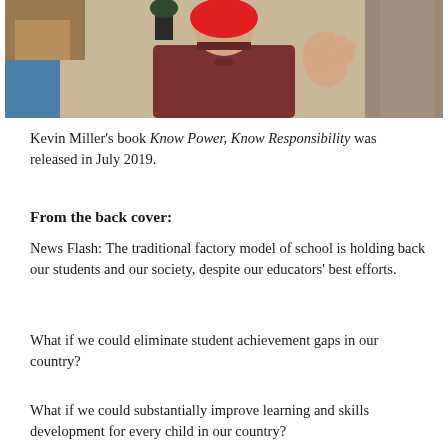[Figure (photo): Video still of a person in a dark red/maroon turtleneck sweater with hand raised, sitting in a room with wooden furniture and blue chair visible in background. Face is obscured by a red circle overlay.]
Kevin Miller's book Know Power, Know Responsibility was released in July 2019.
From the back cover:
News Flash: The traditional factory model of school is holding back our students and our society, despite our educators' best efforts.
What if we could eliminate student achievement gaps in our country?
What if we could substantially improve learning and skills development for every child in our country?